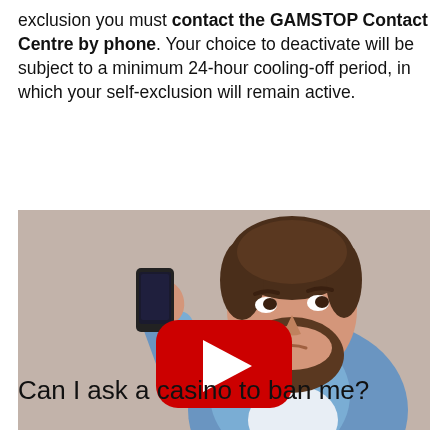exclusion you must contact the GAMSTOP Contact Centre by phone. Your choice to deactivate will be subject to a minimum 24-hour cooling-off period, in which your self-exclusion will remain active.
[Figure (screenshot): YouTube video thumbnail showing an animated character of a bearded man in a blue shirt holding up a smartphone, with a red YouTube play button overlay in the center. The background is a muted taupe/beige color.]
Can I ask a casino to ban me?